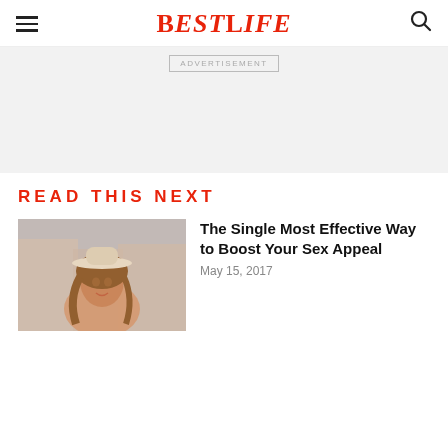BestLife
[Figure (other): Advertisement placeholder area with light gray background and ADVERTISEMENT label]
READ THIS NEXT
[Figure (photo): Young woman wearing a white hat, smiling, photographed outdoors with blurred city background]
The Single Most Effective Way to Boost Your Sex Appeal
May 15, 2017